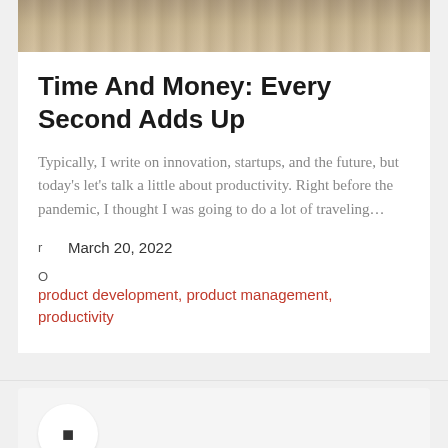[Figure (photo): Close-up photo of stacked coins, gold and silver tones, partially cropped at top]
Time And Money: Every Second Adds Up
Typically, I write on innovation, startups, and the future, but today’s let’s talk a little about productivity. Right before the pandemic, I thought I was going to do a lot of traveling…
March 20, 2022
product development, product management, productivity